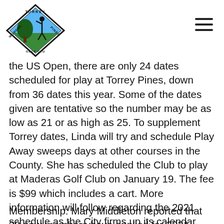[Figure (logo): Torrey Pines Women's Golf Club diamond-shaped logo with golfer silhouette and tree]
the US Open, there are only 24 dates scheduled for play at Torrey Pines, down from 36 dates this year. Some of the dates given are tentative so the number may be as low as 21 or as high as 25. To supplement Torrey dates, Linda will try and schedule Play Away sweeps days at other courses in the County. She has scheduled the Club to play at Maderas Golf Club on January 19. The fee is $99 which includes a cart. More information will follow regarding the 2021 schedule as the City firms up its calendar.
Membership: Mary Middleton reported that 29 new members have applied for 2021 membership.